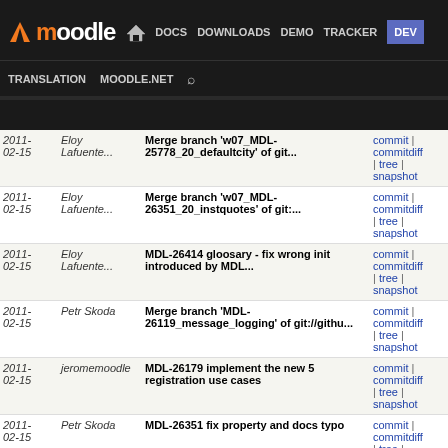Moodle | DOCS | DOWNLOADS | DEMO | TRACKER | DEV | TRANSLATION | MOODLE.NET
| Date | Author | Commit Message | Links |
| --- | --- | --- | --- |
| 2011-02-15 | Eloy Lafuente... | Merge branch 'w07_MDL-25778_20_defaultcity' of git... | commit | commitdiff | tree | snapshot |
| 2011-02-15 | Eloy Lafuente... | Merge branch 'w07_MDL-26351_20_instquotes' of git:... | commit | commitdiff | tree | snapshot |
| 2011-02-15 | Eloy Lafuente... | MDL-26414 gloosary - fix wrong init introduced by MDL... | commit | commitdiff | tree | snapshot |
| 2011-02-15 | Petr Skoda | Merge branch 'MDL-26119_message_logging' of git://githu... | commit | commitdiff | tree | snapshot |
| 2011-02-15 | jeromemoodle | MDL-26179 implement the new 5 registration use cases | commit | commitdiff | tree | snapshot |
| 2011-02-15 | Petr Skoda | MDL-26351 fix property and docs typo | commit | commitdiff | tree | snapshot |
| 2011-02-15 | Aparup Banerjee | glossary MDL-22970 changed fieldname so that MSSQL... | commit | commitdiff | tree | snapshot |
| 2011-02-15 | Petr Skoda | MDL-25778 fix default country and city on user upload... | commit | commitdiff | tree | snapshot |